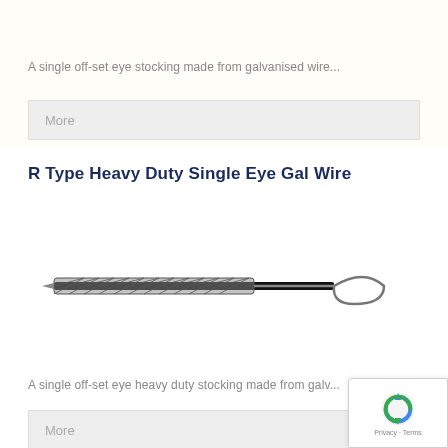A single off-set eye stocking made from galvanised wire...
More
R Type Heavy Duty Single Eye Gal Wire
[Figure (photo): A galvanised wire cable stocking with a single offset eye loop at one end and a braided wire mesh grip body along a black cable]
A single off-set eye heavy duty stocking made from galv...
More